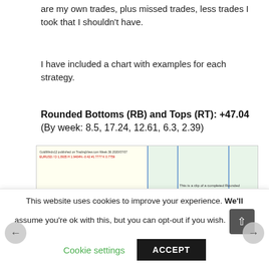are my own trades, plus missed trades, less trades I took that I shouldn't have.
I have included a chart with examples for each strategy.
Rounded Bottoms (RB) and Tops (RT): +47.04
(By week: 8.5, 17.24, 12.61, 6.3, 2.39)
[Figure (screenshot): A financial/trading chart screenshot showing price action with rounded bottom and top patterns marked. The chart has a yellow-shaded left region and a green-shaded right region, with blue vertical dividing lines. Annotations and labels are visible on the chart.]
This website uses cookies to improve your experience. We'll assume you're ok with this, but you can opt-out if you wish.
Cookie settings    ACCEPT